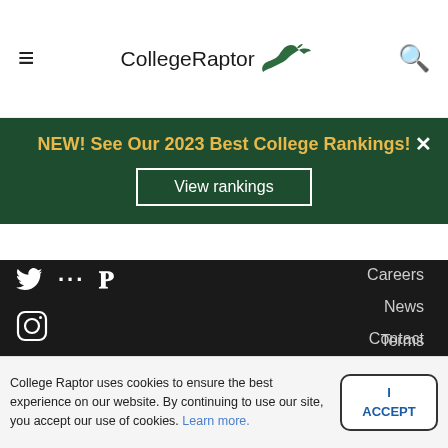CollegeRaptor — hamburger menu, logo, search icon
[Figure (screenshot): CollegeRaptor website screenshot showing navigation header with hamburger menu, CollegeRaptor logo with dinosaur icon, and search icon]
NEW! See Our 2023 Best College Rankings!
View rankings
Careers
News
Contact
FAQ
Sitemap
Privacy Policy
Terms
Resources for:
Counselors
Colleges
High Schools
College Raptor uses cookies to ensure the best experience on our website. By continuing to use our site, you accept our use of cookies. Learn more. | I ACCEPT